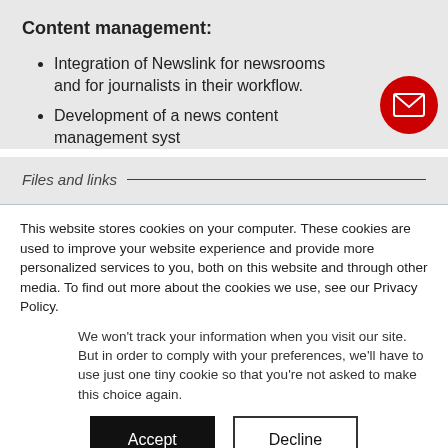Content management:
Integration of Newslink for newsrooms and for journalists in their workflow.
Development of a news content management syst…
Files and links
This website stores cookies on your computer. These cookies are used to improve your website experience and provide more personalized services to you, both on this website and through other media. To find out more about the cookies we use, see our Privacy Policy.
We won't track your information when you visit our site. But in order to comply with your preferences, we'll have to use just one tiny cookie so that you're not asked to make this choice again.